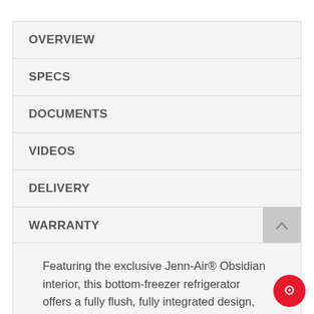OVERVIEW
SPECS
DOCUMENTS
VIDEOS
DELIVERY
WARRANTY
REVIEWS (6)
Featuring the exclusive Jenn-Air® Obsidian interior, this bottom-freezer refrigerator offers a fully flush, fully integrated design, distinct fresh-